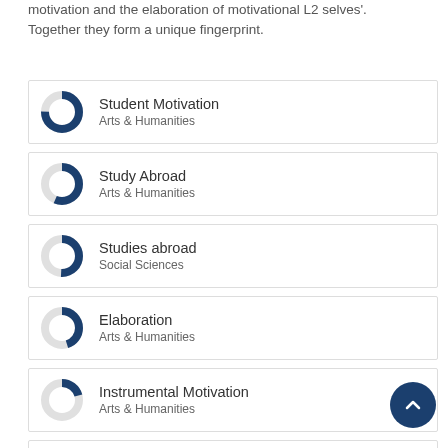motivation and the elaboration of motivational L2 selves'. Together they form a unique fingerprint.
[Figure (donut-chart): Donut chart for Student Motivation, Arts & Humanities, approximately 75% filled dark blue]
Student Motivation
Arts & Humanities
[Figure (donut-chart): Donut chart for Study Abroad, Arts & Humanities, approximately 55% filled dark blue]
Study Abroad
Arts & Humanities
[Figure (donut-chart): Donut chart for Studies abroad, Social Sciences, approximately 50% filled dark blue]
Studies abroad
Social Sciences
[Figure (donut-chart): Donut chart for Elaboration, Arts & Humanities, approximately 45% filled dark blue]
Elaboration
Arts & Humanities
[Figure (donut-chart): Donut chart for Instrumental Motivation, Arts & Humanities, approximately 20% filled dark blue]
Instrumental Motivation
Arts & Humanities
[Figure (donut-chart): Donut chart for Learner Perceptions, partially visible at bottom]
Learner Perceptions